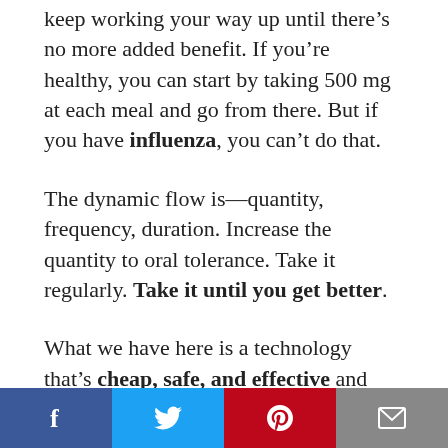keep working your way up until there's no more added benefit. If you're healthy, you can start by taking 500 mg at each meal and go from there. But if you have influenza, you can't do that.
The dynamic flow is—quantity, frequency, duration. Increase the quantity to oral tolerance. Take it regularly. Take it until you get better.
What we have here is a technology that's cheap, safe, and effective and we've all been told that anything that's cheap can't be effective. Anything that's safe, can't be
[Figure (other): Social media share bar with Facebook, Twitter, Pinterest, and Email buttons]